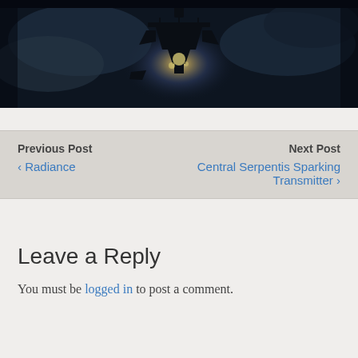[Figure (photo): Dark atmospheric scene showing a silhouette of a spacecraft or structure hanging from chains against a bright glowing light source with smoky/cloudy background in deep blue-black tones]
Previous Post
‹ Radiance
Next Post
Central Serpentis Sparking Transmitter ›
Leave a Reply
You must be logged in to post a comment.